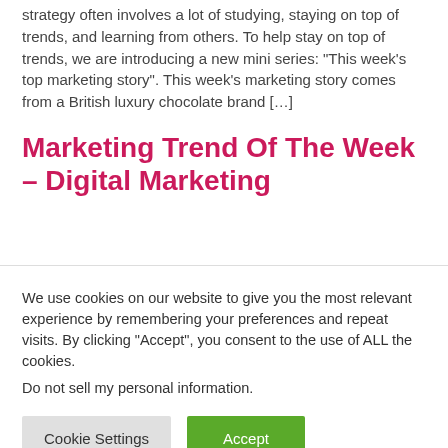strategy often involves a lot of studying, staying on top of trends, and learning from others. To help stay on top of trends, we are introducing a new mini series: “This week’s top marketing story”.   This week’s marketing story comes from a British luxury chocolate brand […]
Marketing Trend Of The Week – Digital Marketing
We use cookies on our website to give you the most relevant experience by remembering your preferences and repeat visits. By clicking “Accept”, you consent to the use of ALL the cookies.
Do not sell my personal information.